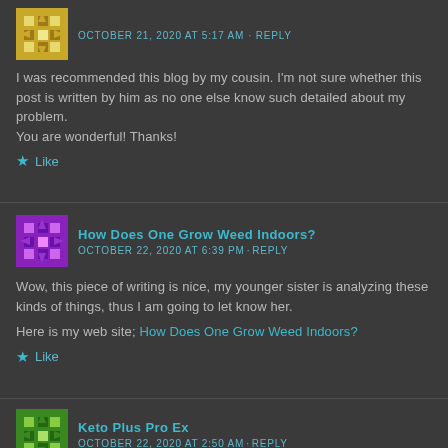OCTOBER 21, 2020 AT 5:17 AM · REPLY
I was recommended this blog by my cousin. I'm not sure whether this post is written by him as no one else know such detailed about my problem.
You are wonderful! Thanks!
Like
How Does One Grow Weed Indoors?
OCTOBER 22, 2020 AT 6:39 PM · REPLY
Wow, this piece of writing is nice, my younger sister is analyzing these kinds of things, thus I am going to let know her.
Here is my web site; How Does One Grow Weed Indoors?
Like
Keto Plus Pro Ex
OCTOBER 22, 2020 AT 2:50 AM · REPLY